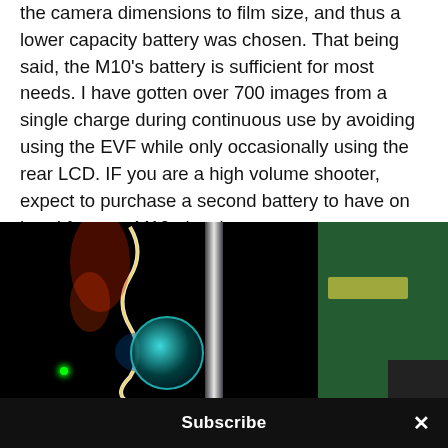the camera dimensions to film size, and thus a lower capacity battery was chosen. That being said, the M10's battery is sufficient for most needs. I have gotten over 700 images from a single charge during continuous use by avoiding using the EVF while only occasionally using the rear LCD. IF you are a high volume shooter, expect to purchase a second battery to have on hand for your M10...just in case.
[Figure (photo): Dark night photography scene showing a person with colorful neon light streaks (squiggly white/rainbow line), a white vertical light bar, green-tinted background panel on the right, a circular lens or headphone element at bottom center, a green dot at lower left, a yellowish sign on the right, and a dark box in the bottom-right corner.]
Subscribe ×